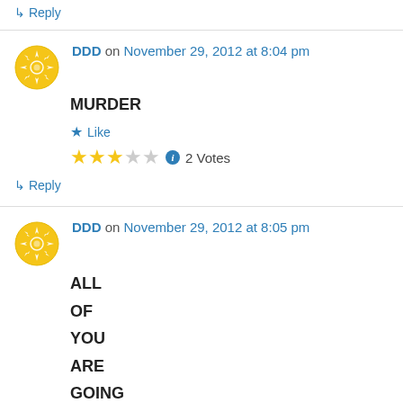↳ Reply
DDD on November 29, 2012 at 8:04 pm
MURDER
★ Like
★★★☆☆ ℹ 2 Votes
↳ Reply
DDD on November 29, 2012 at 8:05 pm
ALL
OF
YOU
ARE
GOING